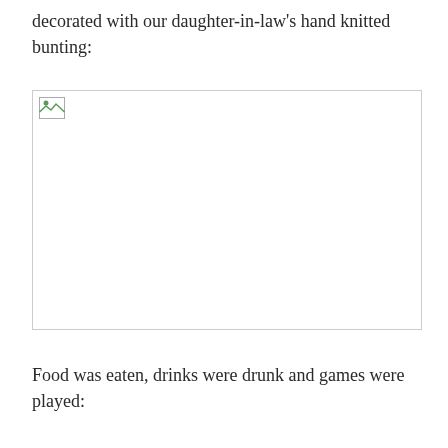decorated with our daughter-in-law's hand knitted bunting:
[Figure (photo): A broken/missing image placeholder showing a small image icon with a border, representing a photo that failed to load.]
Food was eaten, drinks were drunk and games were played: